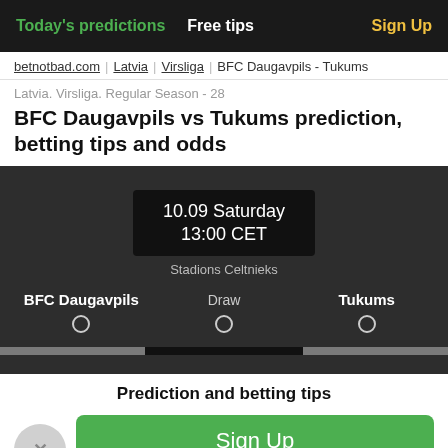Today's predictions  Free tips  Sign Up
betnotbad.com | Latvia | Virsliga | BFC Daugavpils - Tukums
Latvia. Virsliga. Regular Season - 28
BFC Daugavpils vs Tukums prediction, betting tips and odds
[Figure (infographic): Match info panel showing date 10.09 Saturday, time 13:00 CET, venue Stadions Celtnieks, with BFC Daugavpils vs Draw vs Tukums selection row]
Prediction and betting tips
Sign Up to unlock all predictions and other features